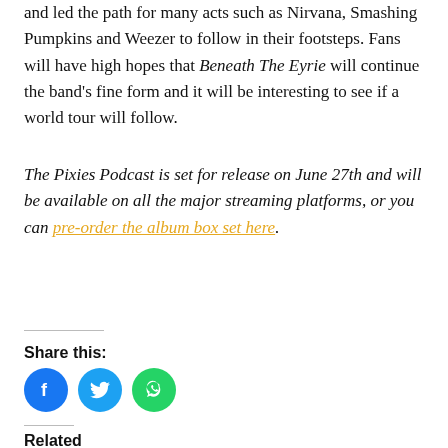and led the path for many acts such as Nirvana, Smashing Pumpkins and Weezer to follow in their footsteps. Fans will have high hopes that Beneath The Eyrie will continue the band's fine form and it will be interesting to see if a world tour will follow.
The Pixies Podcast is set for release on June 27th and will be available on all the major streaming platforms, or you can pre-order the album box set here.
Share this:
[Figure (infographic): Three social media share buttons: Facebook (blue circle with 'f' icon), Twitter (light blue circle with bird icon), WhatsApp (green circle with phone/chat icon)]
Related